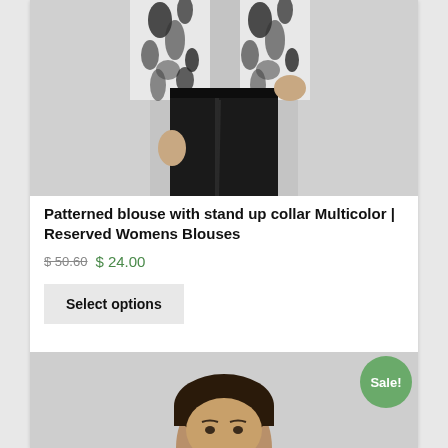[Figure (photo): Product photo of a person wearing a patterned blouse with stand-up collar and black leather-look trousers, cropped at torso level showing the outfit.]
Patterned blouse with stand up collar Multicolor | Reserved Womens Blouses
$ 50.60 $ 24.00
Select options
[Figure (photo): Product photo of a person with a bowl haircut against a light background, partially visible at the bottom of the page. Includes a 'Sale!' badge overlay.]